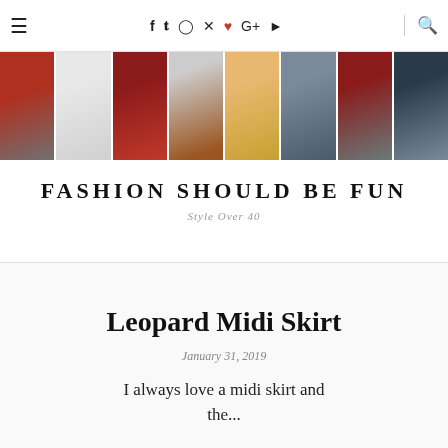≡  f  t  ◎  p  ♥  G+  ▶  🔍
[Figure (photo): Horizontal strip of 8 fashion outfit photos showing women in various outfits including dresses, skirts, and casual wear]
FASHION SHOULD BE FUN
Style Over 40
Leopard Midi Skirt
January 31, 2019
I always love a midi skirt and the...